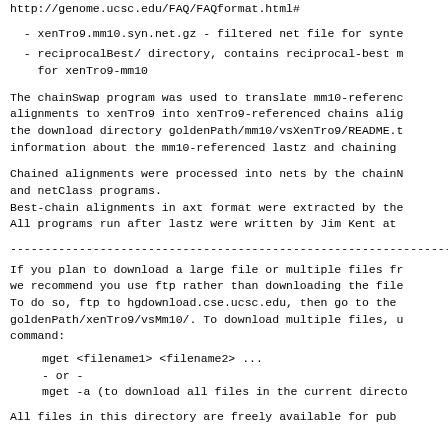http://genome.ucsc.edu/FAQ/FAQformat.html#
- xenTro9.mm10.syn.net.gz - filtered net file for synte
- reciprocalBest/ directory, contains reciprocal-best m
    for xenTro9-mm10
The chainSwap program was used to translate mm10-referenc
alignments to xenTro9 into xenTro9-referenced chains alig
the download directory goldenPath/mm10/vsXenTro9/README.t
information about the mm10-referenced lastz and chaining
Chained alignments were processed into nets by the chainN
and netClass programs.
Best-chain alignments in axt format were extracted by the
All programs run after lastz were written by Jim Kent at
------------------------------------------------------------------------
If you plan to download a large file or multiple files fr
we recommend you use ftp rather than downloading the file
To do so, ftp to hgdownload.cse.ucsc.edu, then go to the
goldenPath/xenTro9/vsMm10/. To download multiple files, u
command:
mget <filename1> <filename2> ...
- or -
mget -a (to download all files in the current directo
All files in this directory are freely available for pub